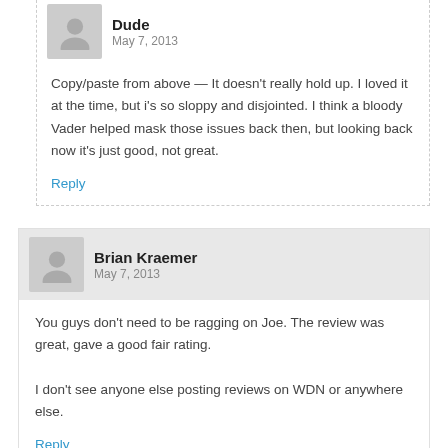Dude
May 7, 2013
Copy/paste from above — It doesn't really hold up. I loved it at the time, but i's so sloppy and disjointed. I think a bloody Vader helped mask those issues back then, but looking back now it's just good, not great.
Reply
Brian Kraemer
May 7, 2013
You guys don't need to be ragging on Joe. The review was great, gave a good fair rating.

I don't see anyone else posting reviews on WDN or anywhere else.
Reply
WWEFAN2013
May 7, 2013